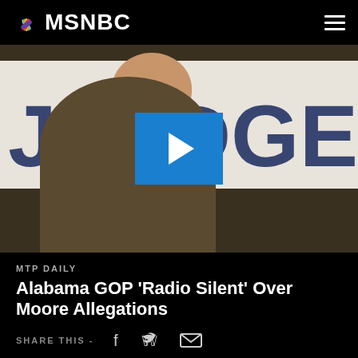MSNBC
[Figure (photo): Video thumbnail showing a man in a suit speaking into microphones at a podium, with a campaign sign reading JUDGE in the background. A blue play button overlay is in the center of the image.]
MTP DAILY
Alabama GOP 'Radio Silent' Over Moore Allegations
SHARE THIS -
Brian Jones joining MTP Daily to discuss the allegations of...